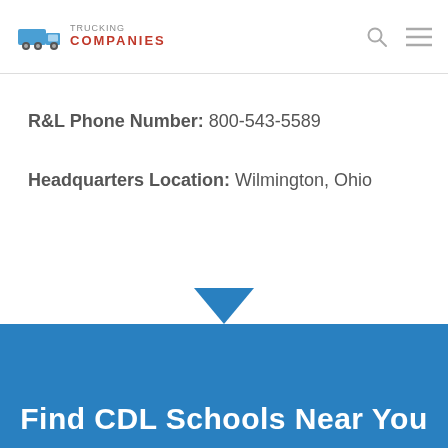Trucking Companies
R&L Phone Number: 800-543-5589
Headquarters Location: Wilmington, Ohio
Find CDL Schools Near You